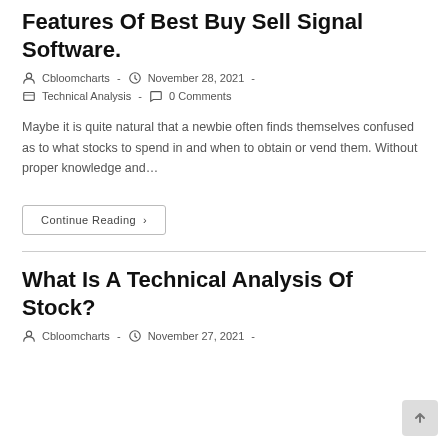Features Of Best Buy Sell Signal Software.
Cbloomcharts  -  November 28, 2021  -  Technical Analysis  -  0 Comments
Maybe it is quite natural that a newbie often finds themselves confused as to what stocks to spend in and when to obtain or vend them. Without proper knowledge and…
Continue Reading ›
What Is A Technical Analysis Of Stock?
Cbloomcharts  -  November 27, 2021  -